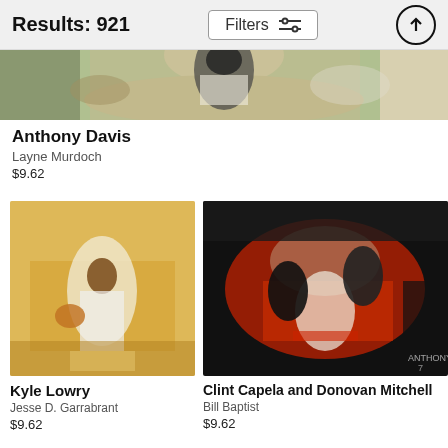Results: 921
Anthony Davis
Layne Murdoch
$9.62
[Figure (photo): Basketball photo of Anthony Davis, fisheye/overhead view of player dunking on indoor court]
[Figure (photo): Basketball photo of Kyle Lowry dribbling in white uniform on wood court]
Kyle Lowry
Jesse D. Garrabrant
$9.62
[Figure (photo): Basketball photo of Clint Capela and Donovan Mitchell, aerial view near basket with red court markings]
Clint Capela and Donovan Mitchell
Bill Baptist
$9.62